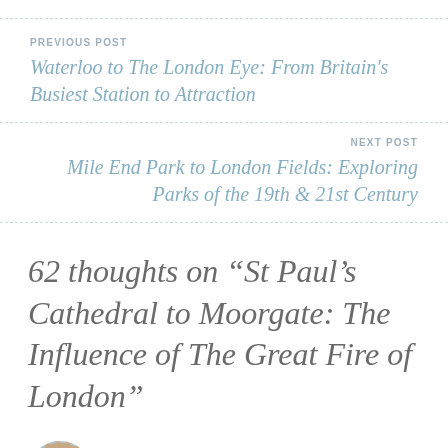PREVIOUS POST
Waterloo to The London Eye: From Britain's Busiest Station to Attraction
NEXT POST
Mile End Park to London Fields: Exploring Parks of the 19th & 21st Century
62 thoughts on “St Paul’s Cathedral to Moorgate: The Influence of The Great Fire of London”
derrickjknight